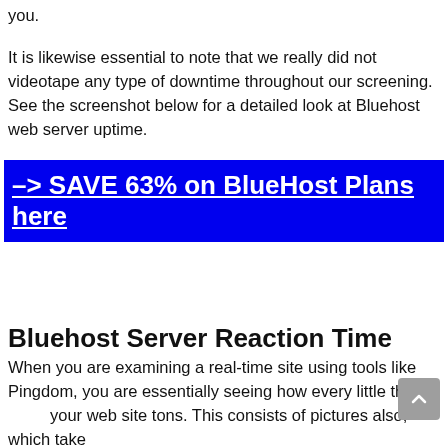you.
It is likewise essential to note that we really did not videotape any type of downtime throughout our screening. See the screenshot below for a detailed look at Bluehost web server uptime.
–> SAVE 63% on BlueHost Plans here
Bluehost Server Reaction Time
When you are examining a real-time site using tools like Pingdom, you are essentially seeing how every little thing your web site tons. This consists of pictures also, which take